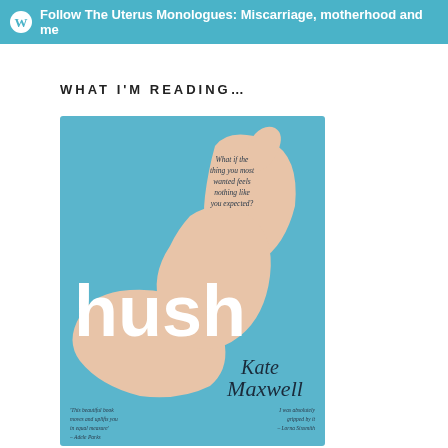Follow The Uterus Monologues: Miscarriage, motherhood and me
WHAT I'M READING…
[Figure (photo): Book cover of 'hush' by Kate Maxwell. Light blue background with illustrated arms/hands cradling. Tagline reads: 'What if the thing you most wanted feels nothing like you expected?' Bold white lowercase title 'hush' and author name 'Kate Maxwell' in italic script. Bottom blurbs visible.]